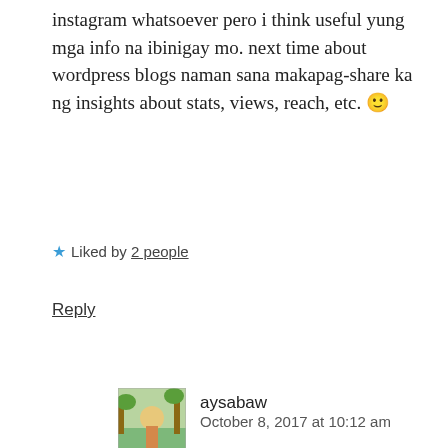instagram whatsoever pero i think useful yung mga info na ibinigay mo. next time about wordpress blogs naman sana makapag-share ka ng insights about stats, views, reach, etc. 🙂
★ Liked by 2 people
Reply
[Figure (photo): Small avatar image of aysabaw user showing tropical/nature illustration]
aysabaw
October 8, 2017 at 10:12 am
ha ha maraming-maraming salamat RP 😀
★ Like
Reply